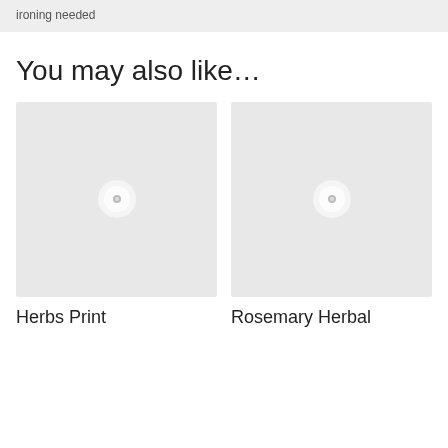ironing needed
You may also like…
[Figure (photo): Product image placeholder with play button icon - Herbs Print]
[Figure (photo): Product image placeholder with play button icon - Rosemary Herbal]
Herbs Print
Rosemary Herbal